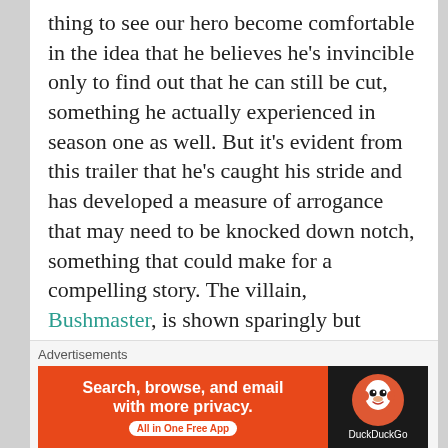thing to see our hero become comfortable in the idea that he believes he's invincible only to find out that he can still be cut, something he actually experienced in season one as well. But it's evident from this trailer that he's caught his stride and has developed a measure of arrogance that may need to be knocked down notch, something that could make for a compelling story. The villain, Bushmaster, is shown sparingly but seems as though he will be a compelling antagonist along with the return of Mariah Dillard and Shades to round out the cast.
Advertisements
[Figure (infographic): DuckDuckGo advertisement banner: orange left panel with text 'Search, browse, and email with more privacy. All in One Free App' and dark right panel with DuckDuckGo duck logo and brand name.]